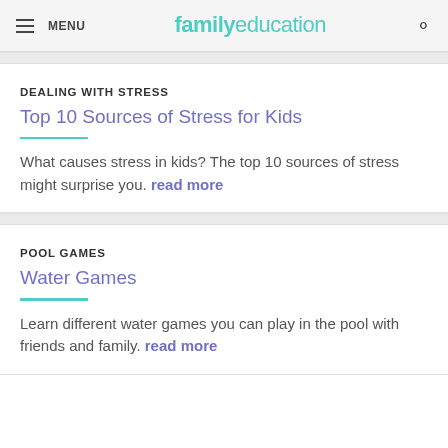MENU | familyeducation
DEALING WITH STRESS
Top 10 Sources of Stress for Kids
What causes stress in kids? The top 10 sources of stress might surprise you. read more
POOL GAMES
Water Games
Learn different water games you can play in the pool with friends and family. read more